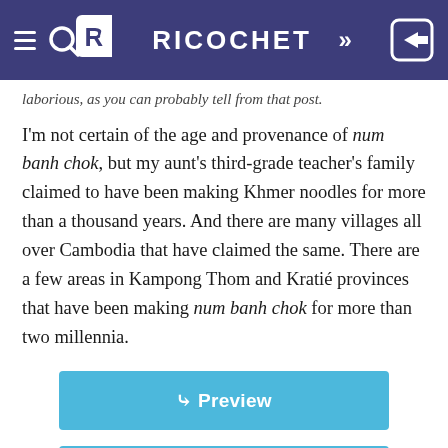RICOCHET
laborious, as you can probably tell from that post.
I'm not certain of the age and provenance of num banh chok, but my aunt's third-grade teacher's family claimed to have been making Khmer noodles for more than a thousand years. And there are many villages all over Cambodia that have claimed the same. There are a few areas in Kampong Thom and Kratié provinces that have been making num banh chok for more than two millennia.
[Figure (screenshot): Blue Preview button]
[Figure (screenshot): Blue Open button]